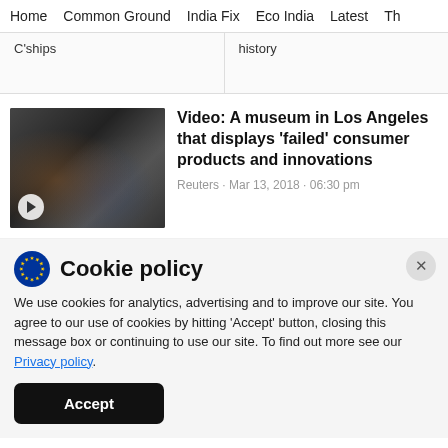Home  Common Ground  India Fix  Eco India  Latest  Th
C'ships
history
Video: A museum in Los Angeles that displays 'failed' consumer products and innovations
Reuters · Mar 13, 2018 · 06:30 pm
Cookie policy
We use cookies for analytics, advertising and to improve our site. You agree to our use of cookies by hitting 'Accept' button, closing this message box or continuing to use our site. To find out more see our Privacy policy.